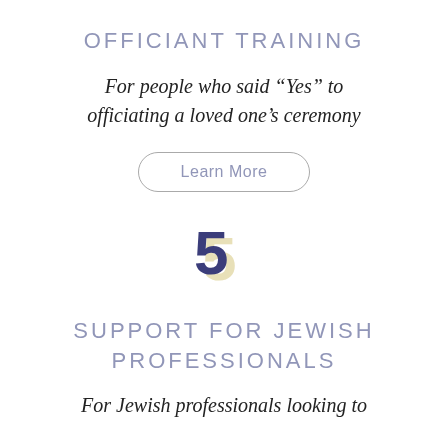OFFICIANT TRAINING
For people who said “Yes” to officiating a loved one’s ceremony
Learn More
[Figure (other): Large bold numeral '5' with a golden/tan shadow offset version behind a dark navy blue foreground version]
SUPPORT FOR JEWISH PROFESSIONALS
For Jewish professionals looking to partner with us or deepen your